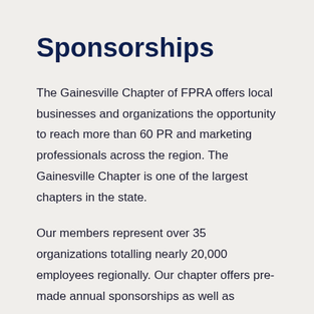Sponsorships
The Gainesville Chapter of FPRA offers local businesses and organizations the opportunity to reach more than 60 PR and marketing professionals across the region. The Gainesville Chapter is one of the largest chapters in the state.
Our members represent over 35 organizations totalling nearly 20,000 employees regionally. Our chapter offers pre-made annual sponsorships as well as